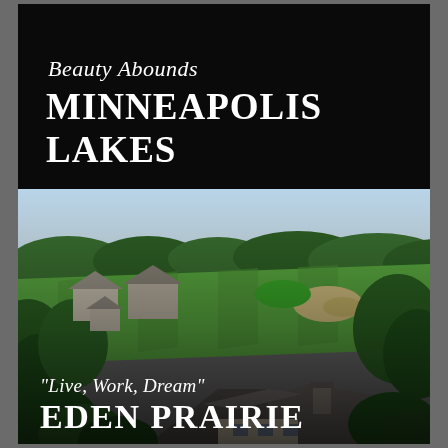Beauty Abounds
MINNEAPOLIS LAKES
[Figure (photo): Aerial drone photograph of a luxury residential neighborhood adjacent to a golf course, surrounded by dense green trees. Large upscale homes with gray/tan roofs are visible, with manicured golf fairways and a sand bunker in the background. A large mansion with a chimney is prominent in the foreground center.]
“Live, Work, Dream”
EDEN PRAIRIE